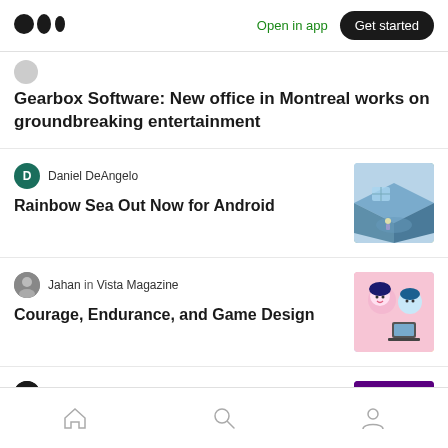Medium logo | Open in app | Get started
Gearbox Software: New office in Montreal works on groundbreaking entertainment
Daniel DeAngelo
Rainbow Sea Out Now for Android
Jahan in Vista Magazine
Courage, Endurance, and Game Design
Good Games Guild
#AskMeAnything: GGG x The Monopolist
Home | Search | Profile